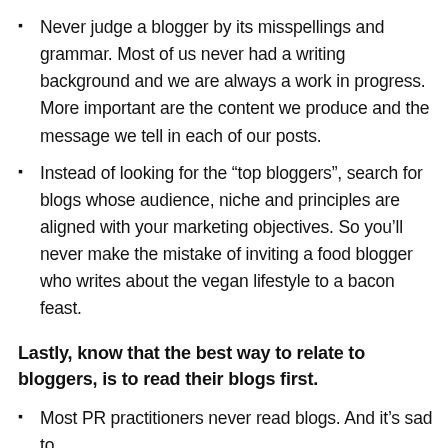Never judge a blogger by its misspellings and grammar. Most of us never had a writing background and we are always a work in progress. More important are the content we produce and the message we tell in each of our posts.
Instead of looking for the “top bloggers”, search for blogs whose audience, niche and principles are aligned with your marketing objectives. So you’ll never make the mistake of inviting a food blogger who writes about the vegan lifestyle to a bacon feast.
Lastly, know that the best way to relate to bloggers, is to read their blogs first.
Most PR practitioners never read blogs. And it’s sad to